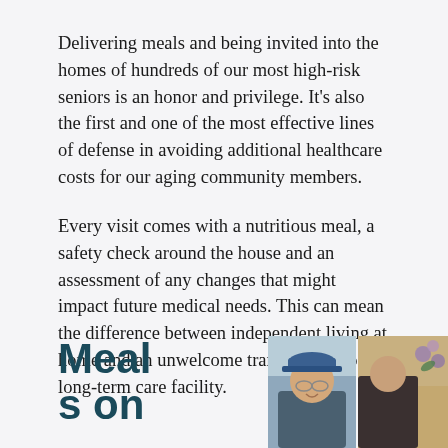Delivering meals and being invited into the homes of hundreds of our most high-risk seniors is an honor and privilege. It's also the first and one of the most effective lines of defense in avoiding additional healthcare costs for our aging community members.
Every visit comes with a nutritious meal, a safety check around the house and an assessment of any changes that might impact future medical needs. This can mean the difference between independent living at home and an unwelcome transfer to a costly long-term care facility.
Meals on
[Figure (photo): Two photos side by side: left shows an elderly man wearing a blue cap and glasses, smiling; right shows another person partially visible with flowers in the background.]